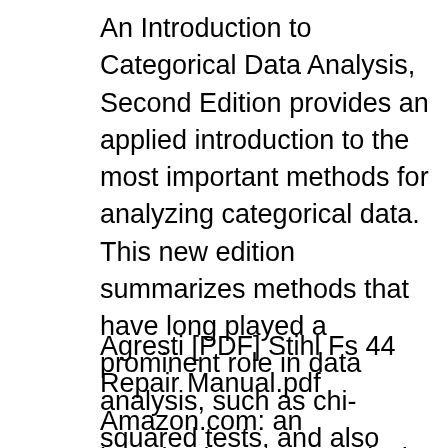An Introduction to Categorical Data Analysis, Second Edition provides an applied introduction to the most important methods for analyzing categorical data. This new edition summarizes methods that have long played a prominent role in data analysis, such as chi-squared tests, and also places special emphasis on logistic regression and other modeling techniques for univariate and correlated multivariate вЂ¦
Agresti [PDF] Stihl Fs 44 Repair Manual.pdf Amazon.com: an introduction to categorical data analysis An Introduction to Categorical Data Analysis, Second Edition is an